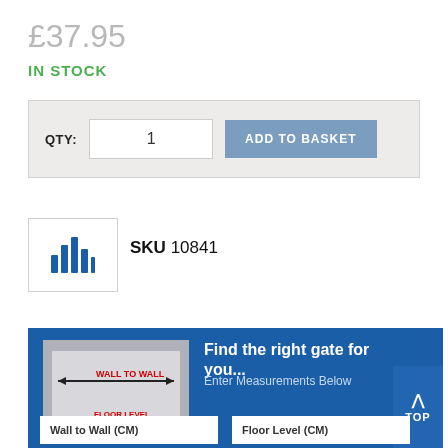£37.95
IN STOCK
QTY:  1  ADD TO BASKET
[Figure (illustration): Bar chart icon representing SKU barcode]
SKU 10841
[Figure (illustration): Gate measurement diagram showing wall to wall and floor level dimensions with arrows]
Find the right gate for you...
Enter Measurements Below
TOP
Wall to Wall (CM)
Floor Level (CM)